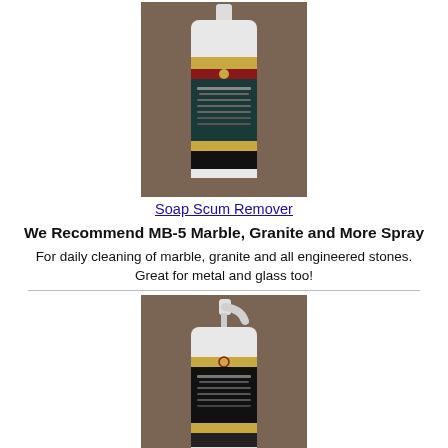[Figure (photo): White plastic bottle of Soap Scum Remover product with gold and dark label, on brownish-gray background]
Soap Scum Remover
We Recommend MB-5 Marble, Granite and More Spray
For daily cleaning of marble, granite and all engineered stones. Great for metal and glass too!
[Figure (photo): White spray bottle of MB-5 Marble, Granite and More Spray product with dark label, on brownish-gray background]